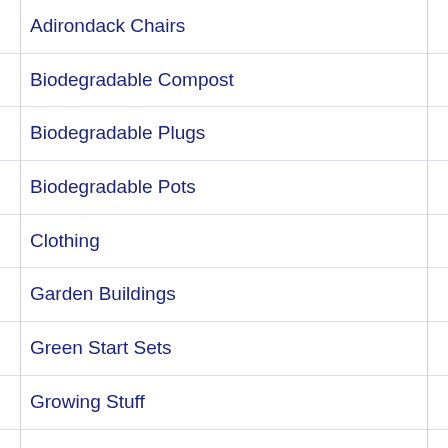Adirondack Chairs
Biodegradable Compost
Biodegradable Plugs
Biodegradable Pots
Clothing
Garden Buildings
Green Start Sets
Growing Stuff
Jenny's Books
Natural Fertiliser Sets